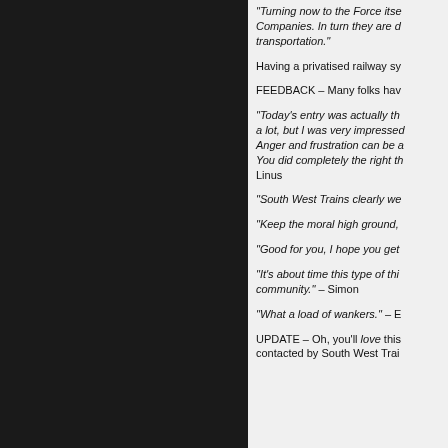“Turning now to the Force itself… Companies. In turn they are d… transportation.”
Having a privatised railway sy…
FEEDBACK – Many folks hav…
“Today’s entry was actually th… a lot, but I was very impressed… Anger and frustration can be a… You did completely the right th… Linus
“South West Trains clearly we…
“Keep the moral high ground,…
“Good for you, I hope you get…
“It’s about time this type of thi… community.” – Simon
“What a load of wankers.” – E…
UPDATE – Oh, you’ll love this… contacted by South West Trai…